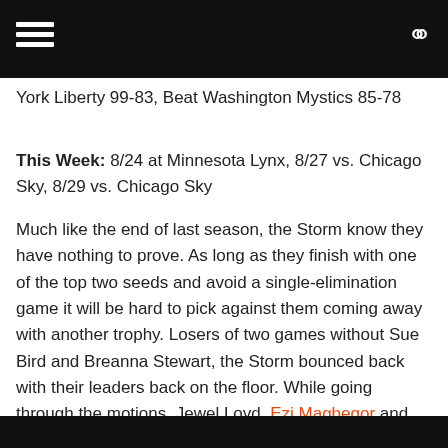York Liberty 99-83, Beat Washington Mystics 85-78
This Week: 8/24 at Minnesota Lynx, 8/27 vs. Chicago Sky, 8/29 vs. Chicago Sky
Much like the end of last season, the Storm know they have nothing to prove. As long as they finish with one of the top two seeds and avoid a single-elimination game it will be hard to pick against them coming away with another trophy. Losers of two games without Sue Bird and Breanna Stewart, the Storm bounced back with their leaders back on the floor. While going through the motions, Jewel Loyd, Ezi Magbegor and Mercedes Russell have taken turns impressing. They were able to add Karlie Samuelson to the